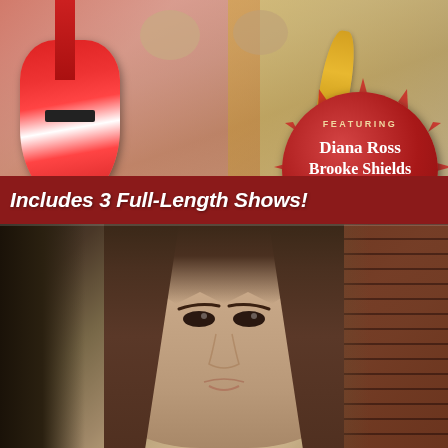[Figure (photo): DVD or product cover image showing musicians/performers in colorful costumes with a guitar, featuring a red circle badge with text listing celebrity guests Diana Ross, Brooke Shields, and Rudolph Nureyev. A red banner at the bottom reads 'Includes 3 Full-Length Shows!']
FEATURING Diana Ross Brooke Shields Rudolph Nureyev
Includes 3 Full-Length Shows!
[Figure (photo): Close-up portrait photo of a young woman (Brooke Shields as a child/teenager) with long straight brown hair, looking at the camera with a neutral expression, set against a blurred brick wall background.]